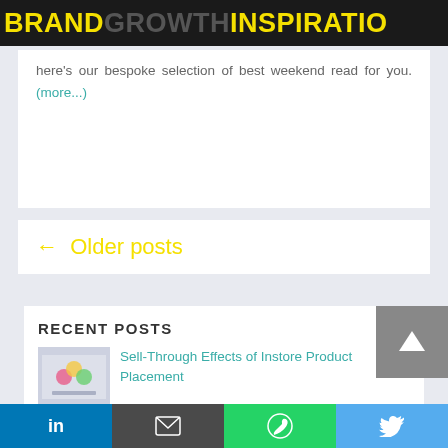BRANDGROWTHINSPIRATION
here's our bespoke selection of best weekend read for you. (more...)
← Older posts
RECENT POSTS
Sell-Through Effects of Instore Product Placement
LinkedIn | Email | WhatsApp | Twitter